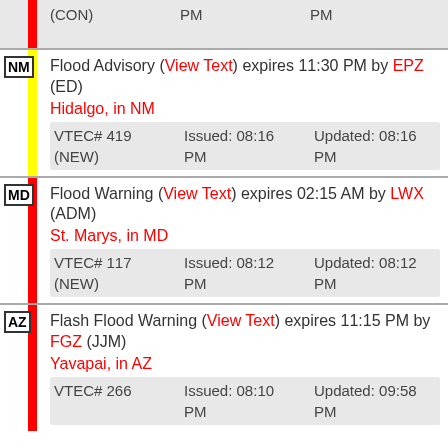| State | Alert | Issued | Updated |
| --- | --- | --- | --- |
| (partial top row) | PM | PM |
| NM | Flood Advisory (View Text) expires 11:30 PM by EPZ (ED)
Hidalgo, in NM
VTEC# 419 (NEW) | Issued: 08:16 PM | Updated: 08:16 PM |
| MD | Flood Warning (View Text) expires 02:15 AM by LWX (ADM)
St. Marys, in MD
VTEC# 117 (NEW) | Issued: 08:12 PM | Updated: 08:12 PM |
| AZ | Flash Flood Warning (View Text) expires 11:15 PM by FGZ (JJM)
Yavapai, in AZ
VTEC# 266 (CON) | Issued: 08:10 PM | Updated: 09:58 PM |